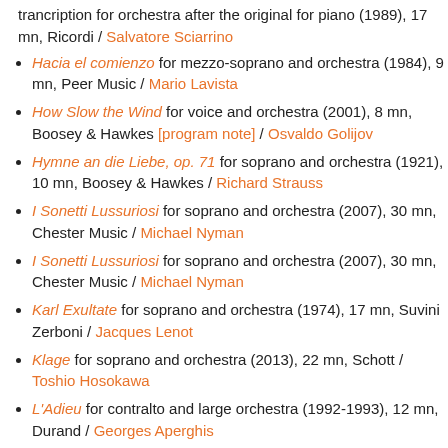trancription for orchestra after the original for piano (1989), 17 mn, Ricordi / Salvatore Sciarrino
Hacia el comienzo for mezzo-soprano and orchestra (1984), 9 mn, Peer Music / Mario Lavista
How Slow the Wind for voice and orchestra (2001), 8 mn, Boosey & Hawkes [program note] / Osvaldo Golijov
Hymne an die Liebe, op. 71 for soprano and orchestra (1921), 10 mn, Boosey & Hawkes / Richard Strauss
I Sonetti Lussuriosi for soprano and orchestra (2007), 30 mn, Chester Music / Michael Nyman
I Sonetti Lussuriosi for soprano and orchestra (2007), 30 mn, Chester Music / Michael Nyman
Karl Exultate for soprano and orchestra (1974), 17 mn, Suvini Zerboni / Jacques Lenot
Klage for soprano and orchestra (2013), 22 mn, Schott / Toshio Hosokawa
L'Adieu for contralto and large orchestra (1992-1993), 12 mn, Durand / Georges Aperghis
[stage] La Dame de Monte-Carlo monologue on a poem by Jean Cocteau for soprano and orchestra (1961), 7 mn, Ricordi / Francis Poulenc
La nuova Euridice secondo Rilke for soprano and orchestra